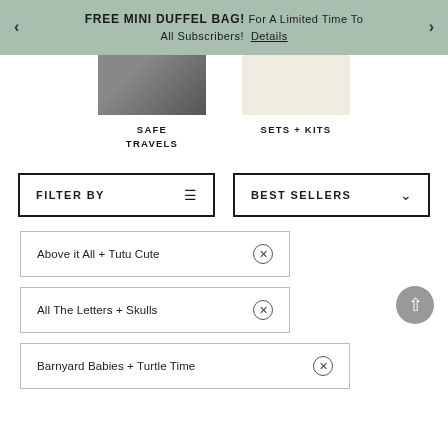FREE MINI DUFFEL BAG! For A Limited Time To All Subscribers! Details
[Figure (photo): Two product category images: a photo of a person (Safe Travels) and a cream-colored product image (Sets + Kits)]
SAFE TRAVELS
SETS + KITS
FILTER BY
BEST SELLERS
Above it All + Tutu Cute ×
All The Letters + Skulls ×
Barnyard Babies + Turtle Time ×